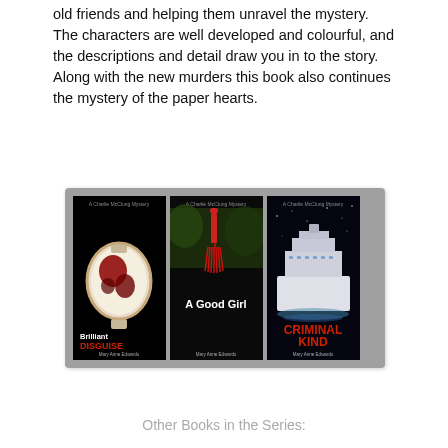old friends and helping them unravel the mystery.
The characters are well developed and colourful, and the descriptions and detail draw you in to the story.
Along with the new murders this book also continues the mystery of the paper hearts.
[Figure (photo): Three book covers for the Charlie McClung Mystery series by Mary Anne Edwards: 'Brilliant Disguise' (black cover with a bloody watch), 'A Good Girl' (black cover with a red tassel), and 'Criminal Kind' (dark cover with a cruise ship).]
Other Books in the Series: